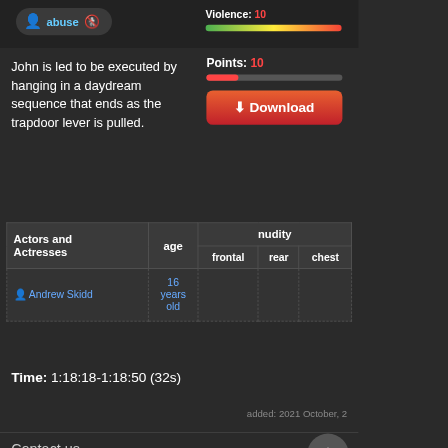John is led to be executed by hanging in a daydream sequence that ends as the trapdoor lever is pulled.
| Actors and Actresses | age | frontal | rear | chest |
| --- | --- | --- | --- | --- |
| Andrew Skidd | 16 years old |  |  |  |
Time: 1:18:18-1:18:50 (32s)
added: 2021 October, 2
Contact us
2020-2022 sensitiveconteht.info   This site uses cookies.   OK